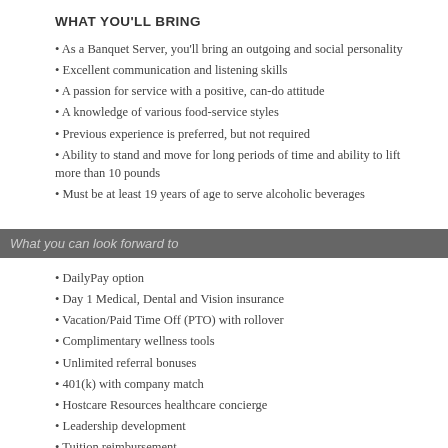WHAT YOU'LL BRING
As a Banquet Server, you'll bring an outgoing and social personality
Excellent communication and listening skills
A passion for service with a positive, can-do attitude
A knowledge of various food-service styles
Previous experience is preferred, but not required
Ability to stand and move for long periods of time and ability to lift more than 10 pounds
Must be at least 19 years of age to serve alcoholic beverages
What you can look forward to
DailyPay option
Day 1 Medical, Dental and Vision insurance
Vacation/Paid Time Off (PTO) with rollover
Complimentary wellness tools
Unlimited referral bonuses
401(k) with company match
Hostcare Resources healthcare concierge
Leadership development
Tuition reimbursement
Discounts on hotel rooms, dining, and other travel/entertainment